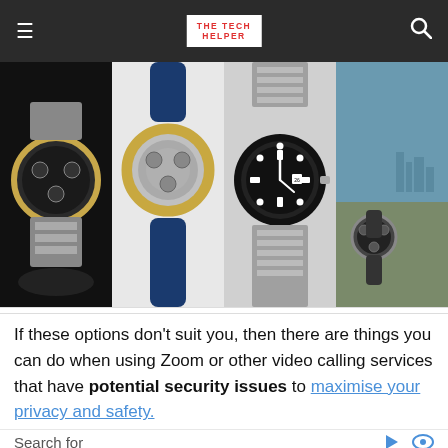THE TECH HELPER
[Figure (photo): Strip of four watch photos: gold/steel chronograph, blue rubber strap watch, black Rolex Submariner, and a small watch on rocky surface]
If these options don't suit you, then there are things you can do when using Zoom or other video calling services that have potential security issues to maximise your privacy and safety.
Search for
1.  User Manual Guide